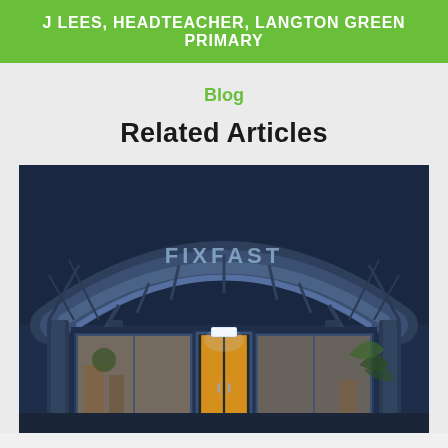J LEES, HEADTEACHER, LANGTON GREEN PRIMARY
Blog
Related Articles
[Figure (photo): Exterior entrance of a building at night with an arched glass canopy bearing the text 'FIXFAST', illuminated doorway with warm orange light visible through glass doors, flanked by metal pillars and windows]